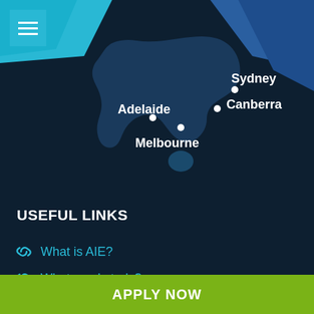[Figure (map): Map of Australia (dark blue silhouette) with city markers for Adelaide, Melbourne, Sydney, and Canberra shown as white dots with white labels. Decorative teal/blue geometric shapes in top-left and top-right corners.]
USEFUL LINKS
What is AIE?
What can I study?
How much are the courses?
What's been happening at AIE?
How do I apply?
How do I get in touch?
APPLY NOW